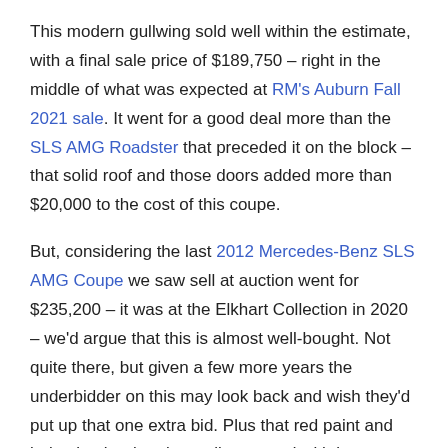This modern gullwing sold well within the estimate, with a final sale price of $189,750 – right in the middle of what was expected at RM's Auburn Fall 2021 sale. It went for a good deal more than the SLS AMG Roadster that preceded it on the block – that solid roof and those doors added more than $20,000 to the cost of this coupe.
But, considering the last 2012 Mercedes-Benz SLS AMG Coupe we saw sell at auction went for $235,200 – it was at the Elkhart Collection in 2020 – we'd argue that this is almost well-bought. Not quite there, but given a few more years the underbidder on this may look back and wish they'd put up that one extra bid. Plus that red paint and beige leather interior really pop and with just over 16,000 miles on the odometer, this car should have a long life ahead of it.